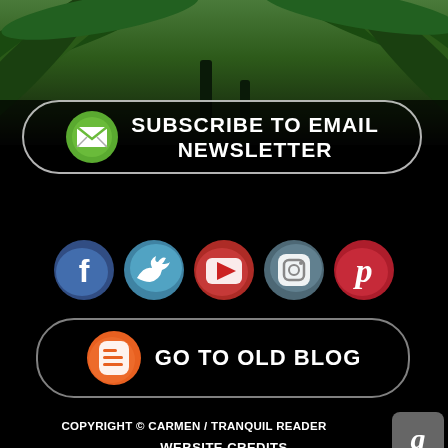[Figure (photo): Tropical palm tree background image at top of page]
SUBSCRIBE TO EMAIL NEWSLETTER
[Figure (infographic): Row of social media icons: Facebook, Twitter, YouTube, Instagram, Pinterest]
GO TO OLD BLOG
COPYRIGHT © CARMEN / TRANQUIL READER
WEBSITE CREDITS
[Figure (logo): Goodreads icon button (gray rounded square with letter g)]
[Figure (logo): Wattpad icon button (gray rounded square with W logo)]